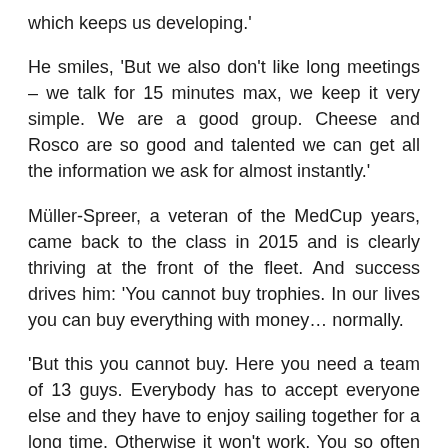which keeps us developing.'
He smiles, 'But we also don't like long meetings – we talk for 15 minutes max, we keep it very simple. We are a good group. Cheese and Rosco are so good and talented we can get all the information we ask for almost instantly.'
Müller-Spreer, a veteran of the MedCup years, came back to the class in 2015 and is clearly thriving at the front of the fleet. And success drives him: 'You cannot buy trophies. In our lives you can buy everything with money… normally.
'But this you cannot buy. Here you need a team of 13 guys. Everybody has to accept everyone else and they have to enjoy sailing together for a long time. Otherwise it won't work. You so often have situations where you are in the wrong corner and everybody's head is down, but you have to keep yours up to win the whole thing.'